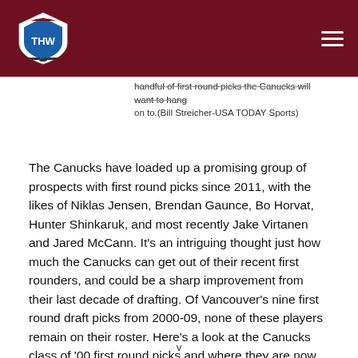THW
handful of first round picks the Canucks will want to hang on to.(Bill Streicher-USA TODAY Sports)
The Canucks have loaded up a promising group of prospects with first round picks since 2011, with the likes of Niklas Jensen, Brendan Gaunce, Bo Horvat, Hunter Shinkaruk, and most recently Jake Virtanen and Jared McCann. It’s an intriguing thought just how much the Canucks can get out of their recent first rounders, and could be a sharp improvement from their last decade of drafting. Of Vancouver’s nine first round draft picks from 2000-09, none of these players remain on their roster. Here’s a look at the Canucks class of ’00 first round picks and where they are now.
v